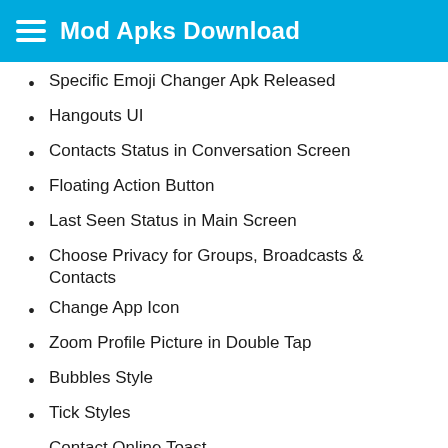Mod Apks Download
Specific Emoji Changer Apk Released
Hangouts UI
Contacts Status in Conversation Screen
Floating Action Button
Last Seen Status in Main Screen
Choose Privacy for Groups, Broadcasts & Contacts
Change App Icon
Zoom Profile Picture in Double Tap
Bubbles Style
Tick Styles
Contact Online Toast
Change Notifybar Icon
Shrink Notifybar Messages
All WhatsMapp Features
Disable Heads-up for Lollipop
Hide Archived Chats